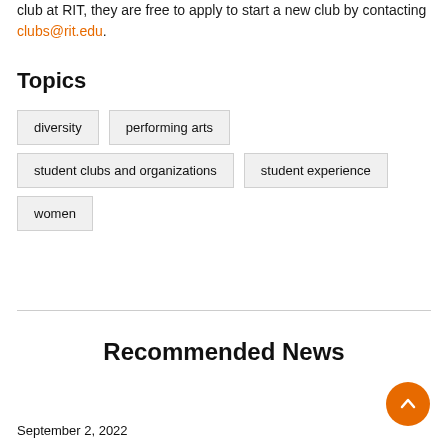club at RIT, they are free to apply to start a new club by contacting clubs@rit.edu.
Topics
diversity
performing arts
student clubs and organizations
student experience
women
Recommended News
September 2, 2022